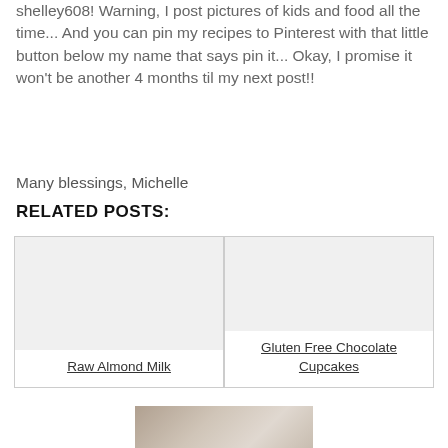shelley608!  Warning, I post pictures of kids and food all the time... And you can pin my recipes to Pinterest with that little button below my name that says pin it... Okay, I promise it won't be another 4 months til my next post!!
Many blessings, Michelle
RELATED POSTS:
Raw Almond Milk
Gluten Free Chocolate Cupcakes
[Figure (photo): Partial photo visible at bottom of page, appears to be a food or beverage image in muted beige/brown tones]